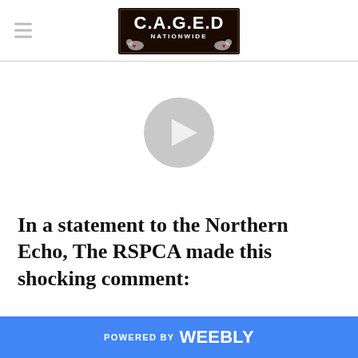C.A.G.E.D NATIONWIDE (logo)
[Figure (other): Video player placeholder with grey circle and play triangle button]
In a statement to the Northern Echo, The RSPCA made this shocking comment:
POWERED BY weebly